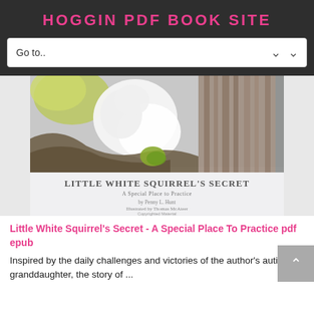HOGGIN PDF BOOK SITE
Go to..
[Figure (illustration): Book cover of 'Little White Squirrel's Secret - A Special Place To Practice' by Penny L. Hunt, Illustrated by Thomas McAteer. Shows a white squirrel near a tree, with watercolor-style artwork. Text reads: LITTLE WHITE SQUIRREL'S SECRET, A Special Place to Practice, By Penny L. Hunt, Illustrated by Thomas McAteer, Copyrighted Material.]
Little White Squirrel's Secret - A Special Place To Practice pdf epub
Inspired by the daily challenges and victories of the author's autistic granddaughter, the story of ...